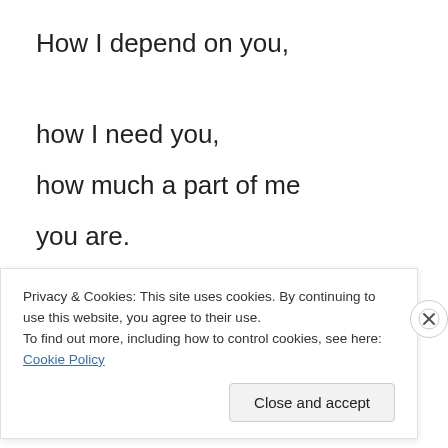How I depend on you,
how I need you,
how much a part of me
you are.
Nothing I can say will ever be enough
Privacy & Cookies: This site uses cookies. By continuing to use this website, you agree to their use.
To find out more, including how to control cookies, see here: Cookie Policy